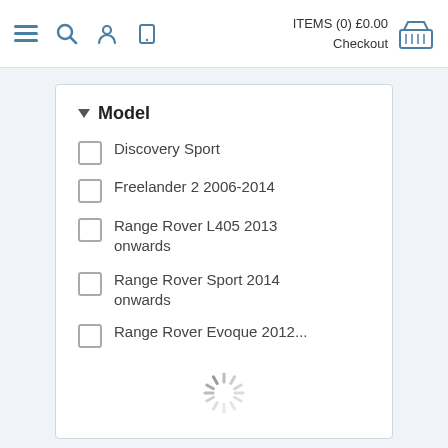ITEMS (0) £0.00 Checkout
Model
Discovery Sport
Freelander 2 2006-2014
Range Rover L405 2013 onwards
Range Rover Sport 2014 onwards
Range Rover Evoque 2012...
[Figure (other): Loading spinner animation]
ENGINE PARTS 2.0 PETROL
Products   SKU   Product   Price   Default ↑   Sales